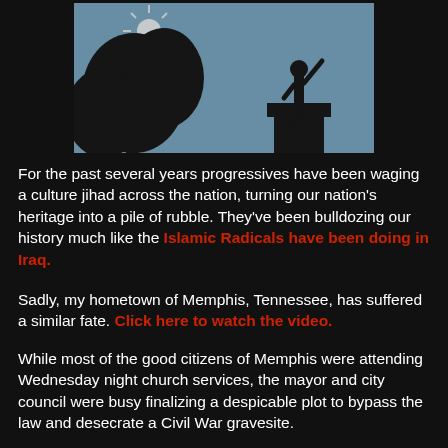[Figure (photo): Silhouette of a statue of a man with one arm raised, set against a bright sky with tree silhouettes and a sunburst in the background. Dark-themed framing around the photo.]
For the past several years progressives have been waging a culture jihad across the nation, turning our nation's heritage into a pile of rubble. They've been bulldozing our history much like the Islamic Radicals have been doing in Iraq.
Sadly, my hometown of Memphis, Tennessee, has suffered a similar fate. Click here to watch the video.
While most of the good citizens of Memphis were attending Wednesday night church services, the mayor and city council were busy finalizing a despicable plot to bypass the law and desecrate a Civil War gravesite.